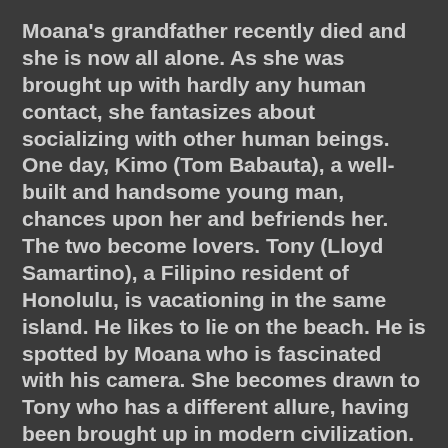Moana's grandfather recently died and she is now all alone. As she was brought up with hardly any human contact, she fantasizes about socializing with other human beings.
One day, Kimo (Tom Babauta), a well-built and handsome young man, chances upon her and befriends her. The two become lovers. Tony (Lloyd Samartino), a Filipino resident of Honolulu, is vacationing in the same island. He likes to lie on the beach. He is spotted by Moana who is fascinated with his camera. She becomes drawn to Tony who has a different allure, having been brought up in modern civilization. Kimo becomes jealous and hits Tony. Moana leaves him and follows Tony to his hotel.
Tony brings Moana to Honolulu. It is not a happy time for her. Tony's girlfriend is critical of her. His